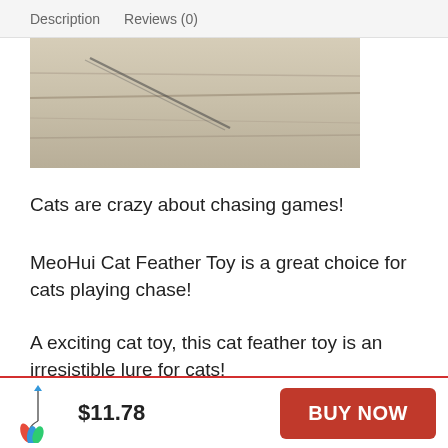Description   Reviews (0)
[Figure (photo): Close-up photo of a cat feather toy, beige/cream colored feathers against a light background]
Cats are crazy about chasing games!
MeoHui Cat Feather Toy is a great choice for cats playing chase!
A exciting cat toy, this cat feather toy is an irresistible lure for cats!
Swing this feathers " lure" will get your cats excited
$11.78
BUY NOW